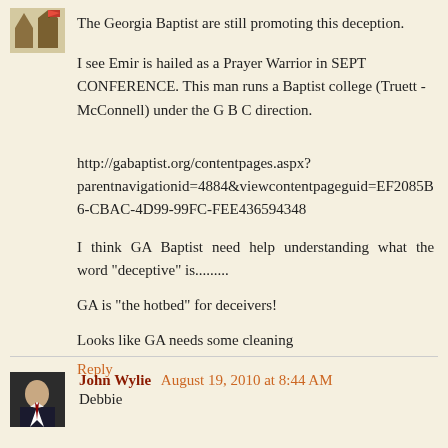The Georgia Baptist are still promoting this deception.
I see Emir is hailed as a Prayer Warrior in SEPT CONFERENCE. This man runs a Baptist college (Truett - McConnell) under the G B C direction.
http://gabaptist.org/contentpages.aspx?parentnavigationid=4884&viewcontentpageguid=EF2085B6-CBAC-4D99-99FC-FEE436594348
I think GA Baptist need help understanding what the word "deceptive" is.........
GA is "the hotbed" for deceivers!
Looks like GA needs some cleaning
Reply
John Wylie  August 19, 2010 at 8:44 AM
Debbie